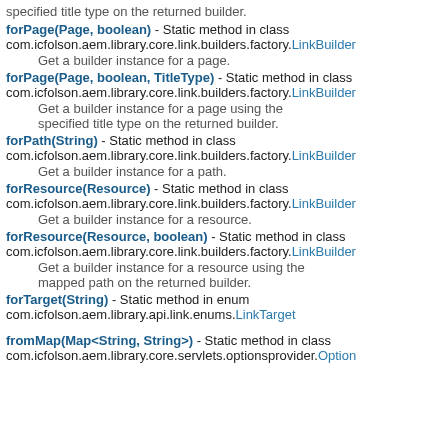specified title type on the returned builder.
forPage(Page, boolean) - Static method in class com.icfolson.aem.library.core.link.builders.factory.LinkBuilder
Get a builder instance for a page.
forPage(Page, boolean, TitleType) - Static method in class com.icfolson.aem.library.core.link.builders.factory.LinkBuilder
Get a builder instance for a page using the specified title type on the returned builder.
forPath(String) - Static method in class com.icfolson.aem.library.core.link.builders.factory.LinkBuilder
Get a builder instance for a path.
forResource(Resource) - Static method in class com.icfolson.aem.library.core.link.builders.factory.LinkBuilder
Get a builder instance for a resource.
forResource(Resource, boolean) - Static method in class com.icfolson.aem.library.core.link.builders.factory.LinkBuilder
Get a builder instance for a resource using the mapped path on the returned builder.
forTarget(String) - Static method in enum com.icfolson.aem.library.api.link.enums.LinkTarget
fromMap(Map<String, String>) - Static method in class com.icfolson.aem.library.core.servlets.optionsprovider.Option